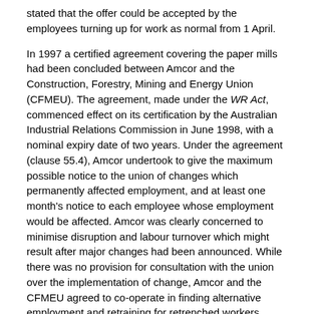stated that the offer could be accepted by the employees turning up for work as normal from 1 April.
In 1997 a certified agreement covering the paper mills had been concluded between Amcor and the Construction, Forestry, Mining and Energy Union (CFMEU). The agreement, made under the WR Act, commenced effect on its certification by the Australian Industrial Relations Commission in June 1998, with a nominal expiry date of two years. Under the agreement (clause 55.4), Amcor undertook to give the maximum possible notice to the union of changes which permanently affected employment, and at least one month's notice to each employee whose employment would be affected. Amcor was clearly concerned to minimise disruption and labour turnover which might result after major changes had been announced. While there was no provision for consultation with the union over the implementation of change, Amcor and the CFMEU agreed to co-operate in finding alternative employment and retraining for retrenched workers (clause 55.7).
The relevant provision of the redundancy clause of the agreement provided that 'should a position become redundant and an employee subsequently be retrenched,' the employee would be entitled to payments for accumulated sick leave, annual leave and long service